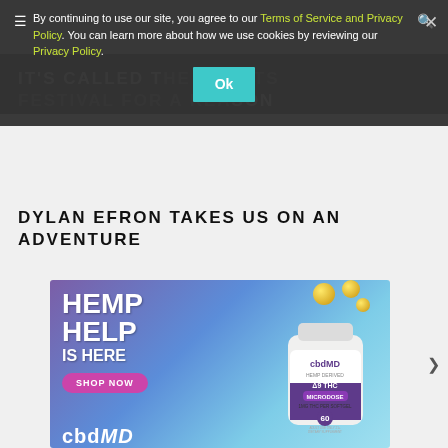By continuing to use our site, you agree to our Terms of Service and Privacy Policy. You can learn more about how we use cookies by reviewing our Privacy Policy.
IT'S CALLED THE SPORTS FESTIVAL FOR A REASON
DYLAN EFRON TAKES US ON AN ADVENTURE
[Figure (advertisement): cbdMD Hemp Help Is Here advertisement with a bottle of Delta 9 THC Microdose softgels, gold capsules floating, purple/blue gradient background, Shop Now button, and cbdMD logo at bottom.]